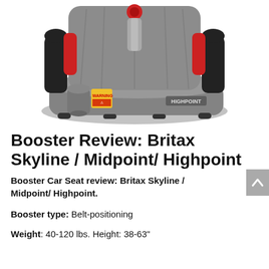[Figure (photo): Britax Highpoint booster car seat in gray and red fabric with cup holder and label on the side]
Booster Review: Britax Skyline / Midpoint/ Highpoint
Booster Car Seat review: Britax Skyline / Midpoint/ Highpoint.
Booster type: Belt-positioning
Weight: 40-120 lbs. Height: 38-63"